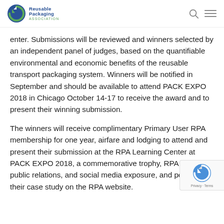Reusable Packaging Association
enter. Submissions will be reviewed and winners selected by an independent panel of judges, based on the quantifiable environmental and economic benefits of the reusable transport packaging system. Winners will be notified in September and should be available to attend PACK EXPO 2018 in Chicago October 14-17 to receive the award and to present their winning submission.
The winners will receive complimentary Primary User RPA membership for one year, airfare and lodging to attend and present their submission at the RPA Learning Center at PACK EXPO 2018, a commemorative trophy, RPA website, public relations, and social media exposure, and posting of their case study on the RPA website.